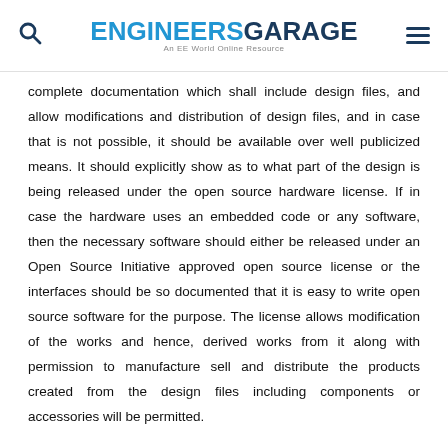ENGINEERS GARAGE — An EE World Online Resource
complete documentation which shall include design files, and allow modifications and distribution of design files, and in case that is not possible, it should be available over well publicized means. It should explicitly show as to what part of the design is being released under the open source hardware license. If in case the hardware uses an embedded code or any software, then the necessary software should either be released under an Open Source Initiative approved open source license or the interfaces should be so documented that it is easy to write open source software for the purpose. The license allows modification of the works and hence, derived works from it along with permission to manufacture sell and distribute the products created from the design files including components or accessories will be permitted.